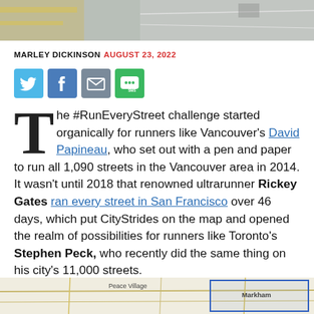[Figure (photo): Top image showing an aerial or street view, partially visible at top of page]
MARLEY DICKINSON  AUGUST 23, 2022
[Figure (infographic): Social sharing buttons: Twitter (blue), Facebook (blue), Email (gray), SMS (green)]
The #RunEveryStreet challenge started organically for runners like Vancouver's David Papineau, who set out with a pen and paper to run all 1,090 streets in the Vancouver area in 2014. It wasn't until 2018 that renowned ultrarunner Rickey Gates ran every street in San Francisco over 46 days, which put CityStrides on the map and opened the realm of possibilities for runners like Toronto's Stephen Peck, who recently did the same thing on his city's 11,000 streets.
[Figure (map): Map showing area around Markham and Peace Village]